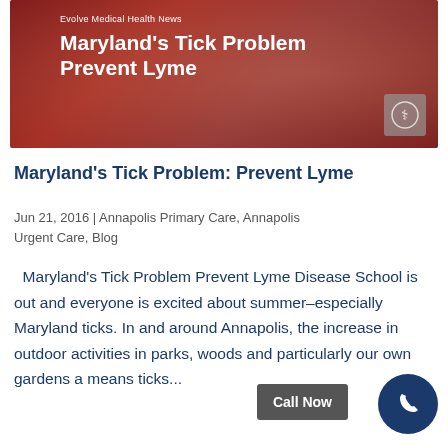[Figure (photo): Hero image showing a close-up of a tick on human skin with text overlay reading 'Evolve Medical Health News' and 'Maryland's Tick Problem Prevent Lyme']
Maryland's Tick Problem: Prevent Lyme
Jun 21, 2016 | Annapolis Primary Care, Annapolis Urgent Care, Blog
Maryland's Tick Problem Prevent Lyme Disease School is out and everyone is excited about summer–especially Maryland ticks. In and around Annapolis, the increase in outdoor activities in parks, woods and particularly our own gardens a means ticks...